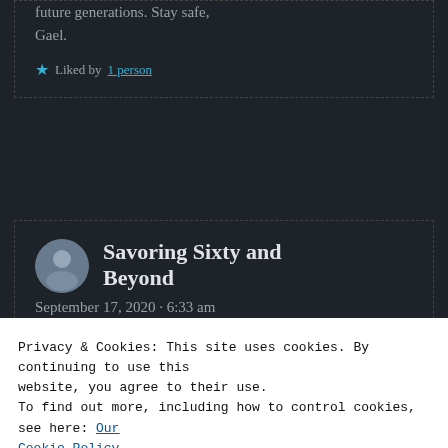future generations. Stay safe, Gael.
Liked by 1 person
Savoring Sixty and Beyond
September 17, 2020 · 6:33 am
Liked by 1 person
Privacy & Cookies: This site uses cookies. By continuing to use this website, you agree to their use.
To find out more, including how to control cookies, see here: Our Cookie Policy
Close and accept